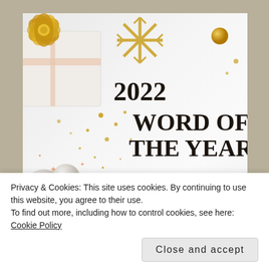[Figure (illustration): A festive holiday-themed banner image with a white gift box with gold bow in upper left, gold snowflake decoration, gold ball ornament, white pearl ornaments at bottom left, scattered gold confetti dots and star shapes, with text '2022 WORD OF THE YEAR Link Party' on a light/white background]
Privacy & Cookies: This site uses cookies. By continuing to use this website, you agree to their use.
To find out more, including how to control cookies, see here: Cookie Policy
Close and accept